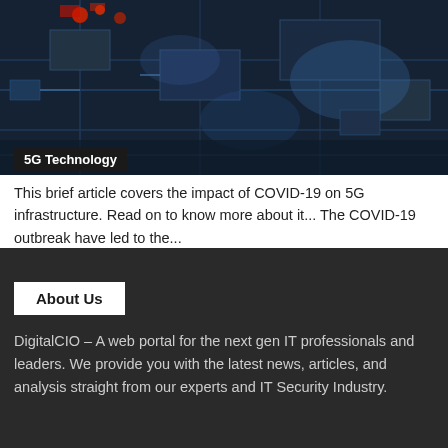[Figure (photo): Aerial/top-down view of a circuit board or electronic equipment with blue and red glowing elements, dark background with metallic components.]
5G Technology
This brief article covers the impact of COVID-19 on 5G infrastructure. Read on to know more about it... The COVID-19 outbreak have led to the...
About Us
DigitalCIO – A web portal for the next gen IT professionals and leaders. We provide you with the latest news, articles, and analysis straight from our experts and IT Security Industry.